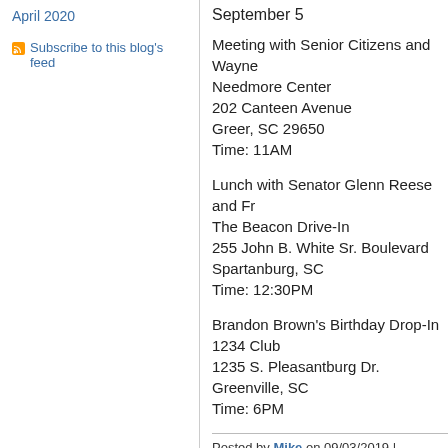April 2020
Subscribe to this blog's feed
September 5
Meeting with Senior Citizens and Wayne Needmore Center
202 Canteen Avenue
Greer, SC 29650
Time: 11AM
Lunch with Senator Glenn Reese and Fr
The Beacon Drive-In
255 John B. White Sr. Boulevard
Spartanburg, SC
Time: 12:30PM
Brandon Brown’s Birthday Drop-In
1234 Club
1235 S. Pleasantburg Dr. Greenville, SC
Time: 6PM
Posted by Mike on 09/03/2019 | Permalink
Digg This   Save to del.icio.us
Tim Ryan Campaign Statement
[Figure (logo): TIM RYAN campaign logo with red TIM text and blue RYAN text, followed by 'Tim Ryan Ca...']